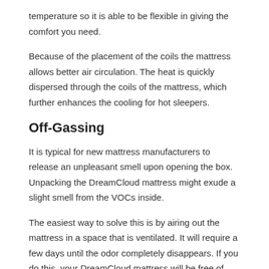temperature so it is able to be flexible in giving the comfort you need.
Because of the placement of the coils the mattress allows better air circulation. The heat is quickly dispersed through the coils of the mattress, which further enhances the cooling for hot sleepers.
Off-Gassing
It is typical for new mattress manufacturers to release an unpleasant smell upon opening the box. Unpacking the DreamCloud mattress might exude a slight smell from the VOCs inside.
The easiest way to solve this is by airing out the mattress in a space that is ventilated. It will require a few days until the odor completely disappears. If you do this, your DreamCloud mattress will be free of odor and you can sleep with ease.